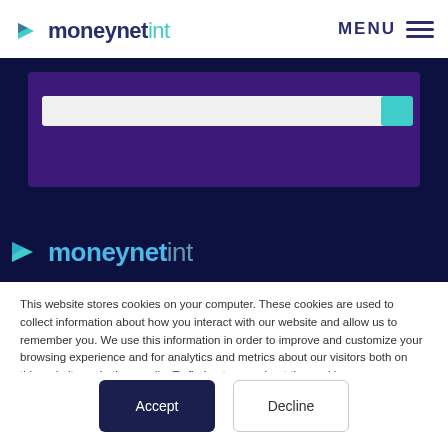moneynetint — MENU
[Figure (screenshot): Website screenshot showing moneynetint header with logo and MENU button, dark navy background with purple card and search bar, and bottom logo watermark]
This website stores cookies on your computer. These cookies are used to collect information about how you interact with our website and allow us to remember you. We use this information in order to improve and customize your browsing experience and for analytics and metrics about our visitors both on this website and other media. To find out more about the cookies we use, see our Privacy Policy.
Accept
Decline